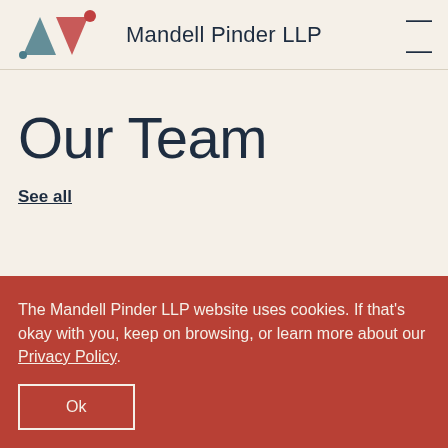[Figure (logo): Mandell Pinder LLP logo with stylized M and dot shapes in teal and red]
Mandell Pinder LLP
Our Team
See all
The Mandell Pinder LLP website uses cookies. If that's okay with you, keep on browsing, or learn more about our Privacy Policy.
Ok